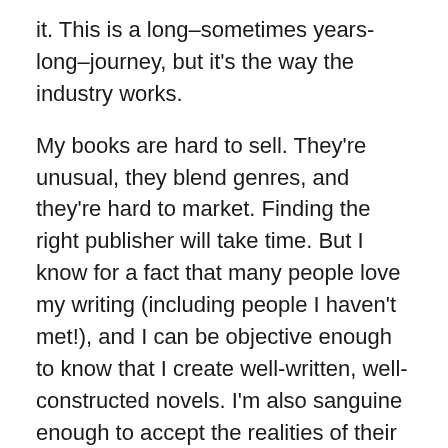it. This is a long–sometimes years-long–journey, but it's the way the industry works.
My books are hard to sell. They're unusual, they blend genres, and they're hard to market. Finding the right publisher will take time. But I know for a fact that many people love my writing (including people I haven't met!), and I can be objective enough to know that I create well-written, well-constructed novels. I'm also sanguine enough to accept the realities of their chances in the business of publishing, and thus, many of my works end up being self-published.
My goals in writing are not to be rich and famous, not to win prizes and accolades. My goals are (a) to write the best books I can, and (b) to get them read by the greatest number of people. To achieve that second goal, it would